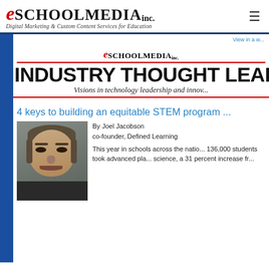[Figure (logo): eSchoolMedia Inc. logo with tagline 'Digital Marketing & Custom Content Services for Education']
View in a w...
[Figure (logo): eSchoolMedia Inc. small logo centered]
INDUSTRY THOUGHT LEAD...
Visions in technology leadership and innov...
4 keys to building an equitable STEM program
[Figure (photo): Photo of Joel Jacobson, co-founder of Defined Learning]
By Joel Jacobson
co-founder, Defined Learning
This year in schools across the natio... 136,000 students took advanced pla... science, a 31 percent increase fr...